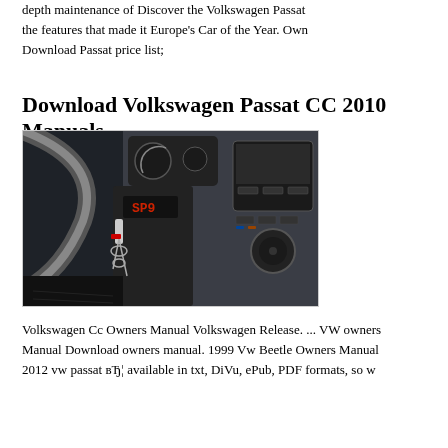depth maintenance of Discover the Volkswagen Passat the features that made it Europe's Car of the Year. Own Download Passat price list;
Download Volkswagen Passat CC 2010 Manuals
[Figure (photo): Interior photo of a Volkswagen Passat CC showing the dashboard, steering column, center console with infotainment controls, and car keys hanging from the ignition.]
Volkswagen Cc Owners Manual Volkswagen Release. ... VW owners Manual Download owners manual. 1999 Vw Beetle Owners Manual 2012 vw passat вЂ¦ available in txt, DiVu, ePub, PDF formats, so w